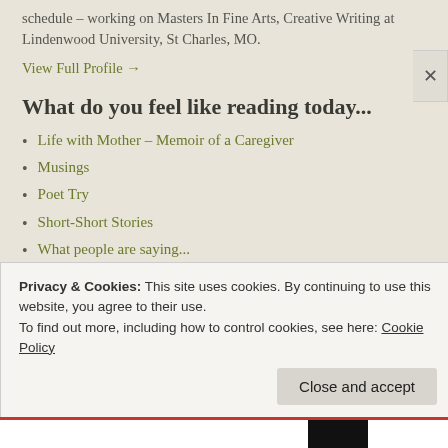schedule – working on Masters In Fine Arts, Creative Writing at Lindenwood University, St Charles, MO.
View Full Profile →
What do you feel like reading today...
Life with Mother – Memoir of a Caregiver
Musings
Poet Try
Short-Short Stories
What people are saying...
What this is all about....
Privacy & Cookies: This site uses cookies. By continuing to use this website, you agree to their use.
To find out more, including how to control cookies, see here: Cookie Policy
Close and accept